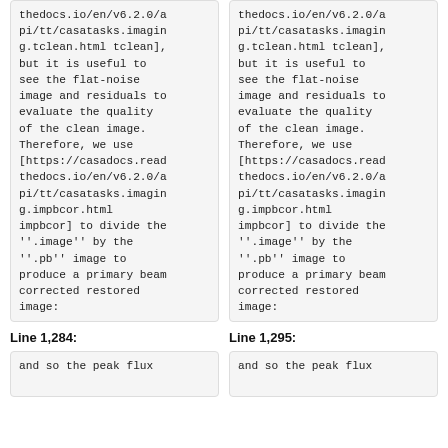thedocs.io/en/v6.2.0/api/tt/casatasks.imaging.tclean.html tclean], but it is useful to see the flat-noise image and residuals to evaluate the quality of the clean image. Therefore, we use [https://casadocs.readthedocs.io/en/v6.2.0/api/tt/casatasks.imaging.impbcor.html impbcor] to divide the ''.image'' by the ''.pb'' image to produce a primary beam corrected restored image:
thedocs.io/en/v6.2.0/api/tt/casatasks.imaging.tclean.html tclean], but it is useful to see the flat-noise image and residuals to evaluate the quality of the clean image. Therefore, we use [https://casadocs.readthedocs.io/en/v6.2.0/api/tt/casatasks.imaging.impbcor.html impbcor] to divide the ''.image'' by the ''.pb'' image to produce a primary beam corrected restored image:
Line 1,284:
Line 1,295:
and so the peak flux
and so the peak flux